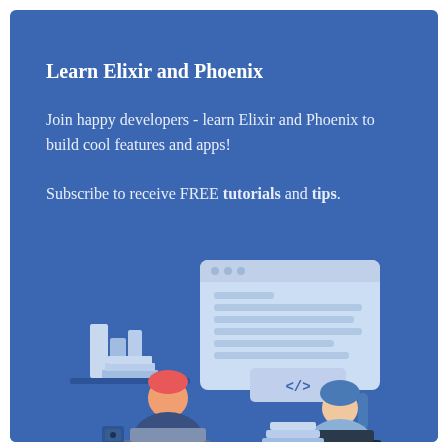Learn Elixir and Phoenix
Join happy developers - learn Elixir and Phoenix to build cool features and apps!
Subscribe to receive FREE tutorials and tips.
[Figure (illustration): Illustration of two developers working on laptops with books on a shelf and a code editor window showing on screen, in a flat design style on a blue background.]